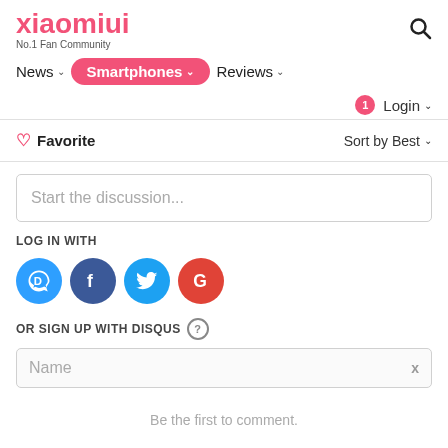[Figure (logo): xiaomiui logo - pink text with 'No.1 Fan Community' subtitle]
News | Smartphones | Reviews
Login ▾
♡ Favorite    Sort by Best ▾
Start the discussion...
LOG IN WITH
[Figure (infographic): Social login icons: Disqus (blue), Facebook (dark blue), Twitter (light blue), Google (red)]
OR SIGN UP WITH DISQUS ?
Name
Be the first to comment.